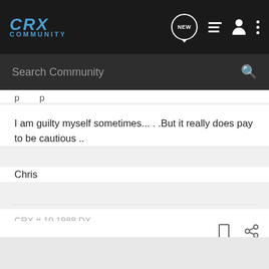[Figure (screenshot): CRX Community forum website header with logo, NEW message badge, list icon, user icon, and three-dot menu icon on dark background]
Search Community
I am guilty myself sometimes... . .But it really does pay to be cautious ..
Chris
CRX # 10 1988 DX